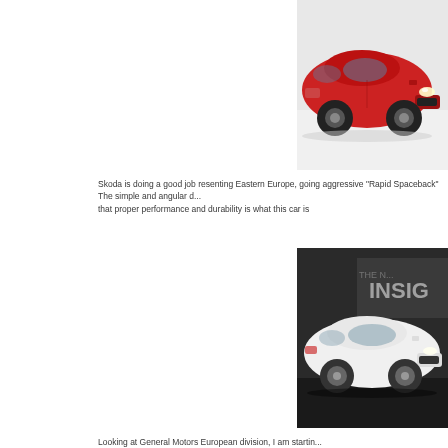[Figure (photo): Red Skoda Rapid Spaceback car displayed at an auto show on a white floor, shot from front-left angle showing sporty profile with black alloy wheels.]
Skoda is doing a good job resenting Eastern Europe, going aggressive "Rapid Spaceback" The simple and angular d... that proper performance and durability is what this car is
[Figure (photo): White Opel/Vauxhall Insignia station wagon displayed at an auto show with dark background and signage reading 'INSIG' visible, shot from front-left angle.]
Looking at General Motors European division, I am startin...